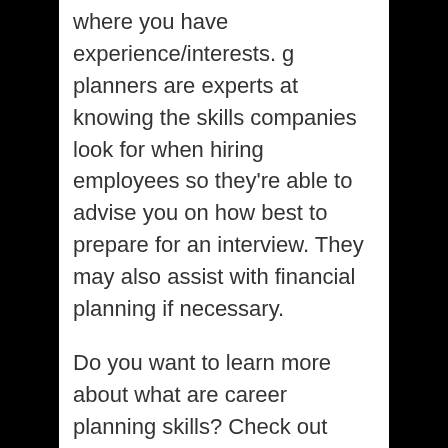where you have experience/interests. g planners are experts at knowing the skills companies look for when hiring employees so they're able to advise you on how best to prepare for an interview. They may also assist with financial planning if necessary.
Do you want to learn more about what are career planning skills? Check out these Best Books on Career Development.
This page may contain affiliate links. This website may contain content that comes from Amazon. This website and its pages are not intended to constitute